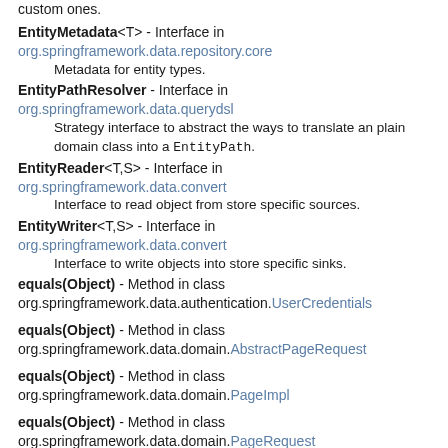custom ones.
EntityMetadata<T> - Interface in org.springframework.data.repository.core
    Metadata for entity types.
EntityPathResolver - Interface in org.springframework.data.querydsl
    Strategy interface to abstract the ways to translate an plain domain class into a EntityPath.
EntityReader<T,S> - Interface in org.springframework.data.convert
    Interface to read object from store specific sources.
EntityWriter<T,S> - Interface in org.springframework.data.convert
    Interface to write objects into store specific sinks.
equals(Object) - Method in class org.springframework.data.authentication.UserCredentials
equals(Object) - Method in class org.springframework.data.domain.AbstractPageRequest
equals(Object) - Method in class org.springframework.data.domain.PageImpl
equals(Object) - Method in class org.springframework.data.domain.PageRequest